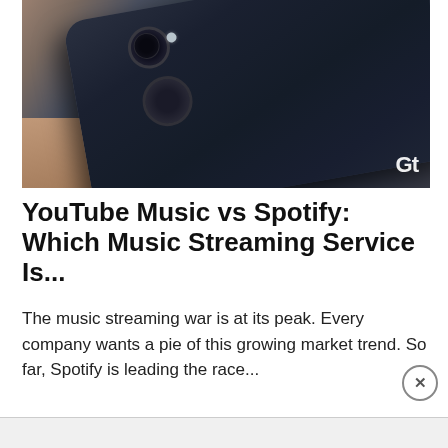[Figure (photo): Dark navy/black smartphone lying on a wooden surface, shot from the back showing camera lens, flash, and fingerprint sensor. Watermark 'Gt' visible in bottom right corner.]
YouTube Music vs Spotify: Which Music Streaming Service Is...
The music streaming war is at its peak. Every company wants a pie of this growing market trend. So far, Spotify is leading the race...